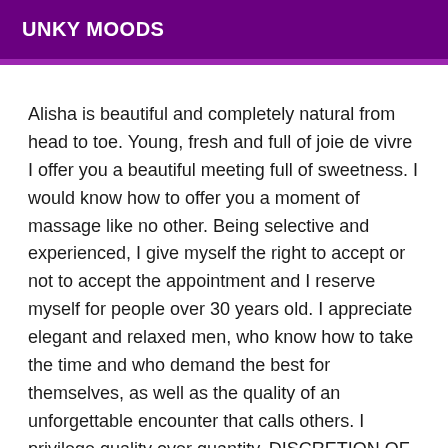UNKY MOODS
Alisha is beautiful and completely natural from head to toe. Young, fresh and full of joie de vivre I offer you a beautiful meeting full of sweetness. I would know how to offer you a moment of massage like no other. Being selective and experienced, I give myself the right to accept or not to accept the appointment and I reserve myself for people over 30 years old. I appreciate elegant and relaxed men, who know how to take the time and who demand the best for themselves, as well as the quality of an unforgettable encounter that calls others. I privilege quality over quantity. DISCRETION OF RIGOR. Cosy place and easy access to parking. Shower available. Appointment the same day 30mn in advance. If I do not answer, insist that means I am busy. Sms, voice message, e-mails, landline and hidden numbers will be left unanswered. I don't call you back....Insist... 09H 23H All calls outside these hours will be left